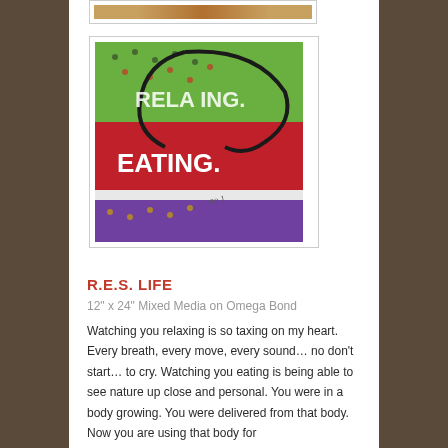[Figure (photo): Partial top of a framed artwork image, partially cropped at top of page]
[Figure (photo): Framed colorful mixed media artwork with the words RELAXING. and EATING. visible on vibrant red, green, and purple fabric/media collage]
R.E.S. LIFE
12" x 24" Mixed Media on Omega Bond
Watching you relaxing is so taxing on my heart. Every breath, every move, every sound… no don't start… to cry. Watching you eating is being able to see nature up close and personal. You were in a body growing. You were delivered from that body. Now you are using that body for